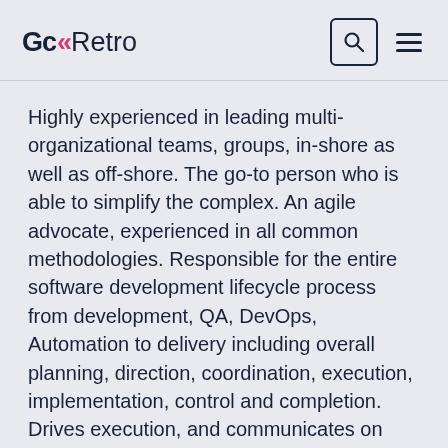GcRetro
Highly experienced in leading multi-organizational teams, groups, in-shore as well as off-shore. The go-to person who is able to simplify the complex. An agile advocate, experienced in all common methodologies. Responsible for the entire software development lifecycle process from development, QA, DevOps, Automation to delivery including overall planning, direction, coordination, execution, implementation, control and completion. Drives execution, and communicates on status, risks, metrics, risk-mitigation and processes across R&D.
More from this author >